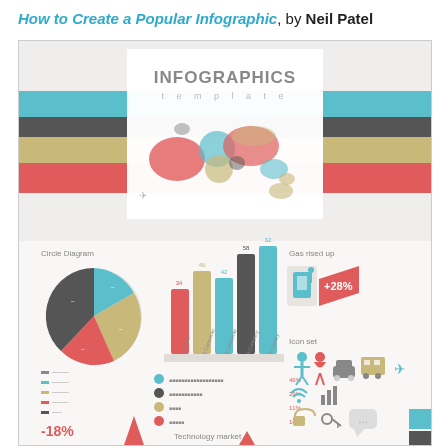How to Create a Popular Infographic, by Neil Patel
[Figure (infographic): An infographic template preview showing: a world map, horizontal color stripes (teal, dark gray, tan, coral/red), a pie/circle diagram on the left, a bar chart in the center, a Gas rised up +28% indicator on the right, an icon set with people/transport/tech icons, percentage bars (46%, 29%, 11%, 14%), -18% and +arrow indicators, Technology market label, and various small legend items.]